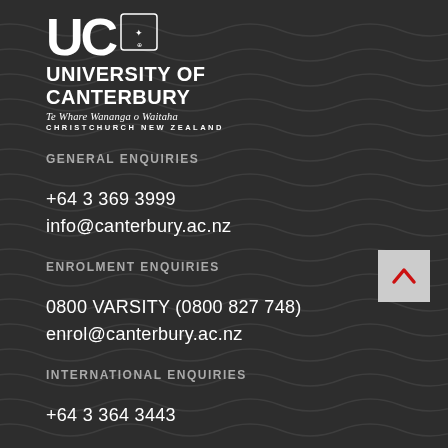[Figure (logo): University of Canterbury logo: UC letters with shield crest, UNIVERSITY OF CANTERBURY, Te Whare Wananga o Waitaha, CHRISTCHURCH NEW ZEALAND]
GENERAL ENQUIRIES
+64 3 369 3999
info@canterbury.ac.nz
ENROLMENT ENQUIRIES
0800 VARSITY (0800 827 748)
enrol@canterbury.ac.nz
INTERNATIONAL ENQUIRIES
+64 3 364 3443